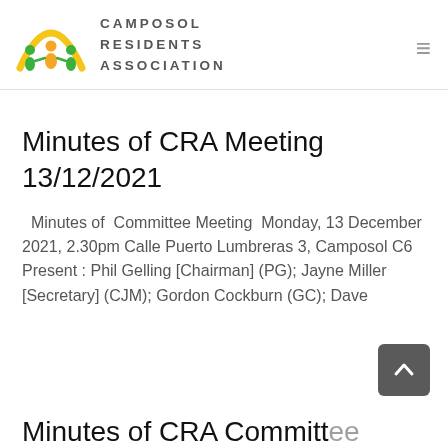[Figure (logo): Camposol Residents Association logo with three figures under a yellow arc and text CAMPOSOL RESIDENTS ASSOCIATION]
Minutes of CRA Meeting 13/12/2021
Minutes of Committee Meeting Monday, 13 December 2021, 2.30pm Calle Puerto Lumbreras 3, Camposol C6 Present : Phil Gelling [Chairman] (PG); Jayne Miller [Secretary] (CJM); Gordon Cockburn (GC); Dave
[Figure (other): Scroll to top button (dark grey rounded square with upward chevron)]
Minutes of CRA Committee